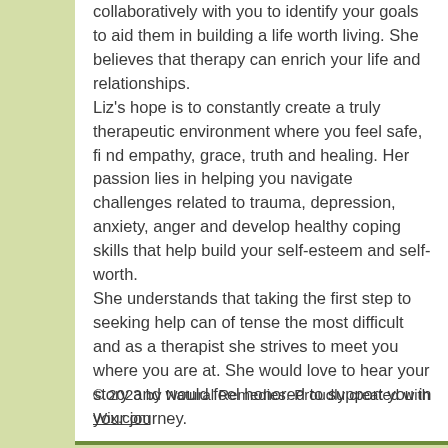collaboratively with you to identify your goals to aid them in building a life worth living. She believes that therapy can enrich your life and relationships. Liz's hope is to constantly create a truly therapeutic environment where you feel safe, find empathy, grace, truth and healing. Her passion lies in helping you navigate challenges related to trauma, depression, anxiety, anger and develop healthy coping skills that help build your self-esteem and self-worth.

She understands that taking the first step to seeking help can oftense the most difficult and as a therapist she strives to meet you where you are at. She would love to hear your story and would feel honored to support you in your journey.
© 2023 by Natural Remedies. Proudly created with Wix.com